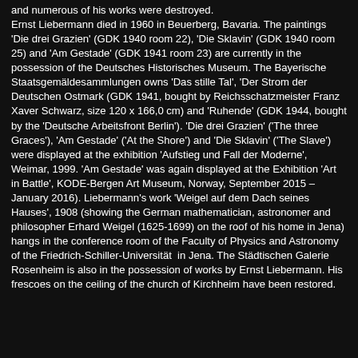and numerous of his works were destroyed. Ernst Liebermann died in 1960 in Beuerberg, Bavaria. The paintings 'Die drei Grazien' (GDK 1940 room 22), 'Die Sklavin' (GDK 1940 room 25) and 'Am Gestade' (GDK 1941 room 23) are currently in the possession of the Deutsches Historisches Museum. The Bayerische Staatsgemäldesammlungen owns 'Das stille Tal', 'Der Strom der Deutschen Ostmark (GDK 1941, bought by Reichsschatzmeister Franz Xaver Schwarz, size 120 x 166,0 cm) and 'Ruhende' (GDK 1944, bought by the 'Deutsche Arbeitsfront Berlin'). 'Die drei Grazien' ('The three Graces'), 'Am Gestade' ('At the Shore') and 'Die Sklavin' ('The Slave') were displayed at the exhibition 'Aufstieg und Fall der Moderne', Weimar, 1999. 'Am Gestade' was again displayed at the Exhibition 'Art in Battle', KODE-Bergen Art Museum, Norway, September 2015 – January 2016). Liebermann's work 'Weigel auf dem Dach seines Hauses', 1908 (showing the German mathematician, astronomer and philosopher Erhard Weigel (1625-1699) on the roof of his home in Jena) hangs in the conference room of the Faculty of Physics and Astronomy of the Friedrich-Schiller-Universität in Jena. The Städtischen Galerie Rosenheim is also in the possession of works by Ernst Liebermann. His frescoes on the ceiling of the church of Kirchheim have been restored.